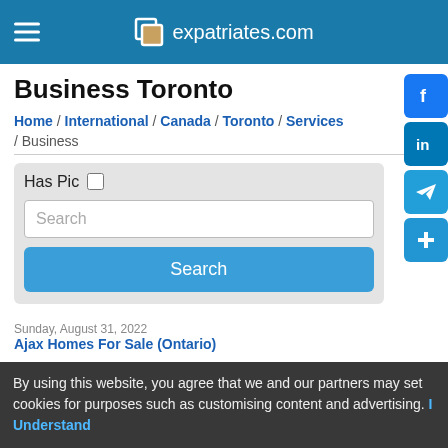expatriates.com
Business Toronto
Home / International / Canada / Toronto / Services / Business
[Figure (screenshot): Search form with Has Pic checkbox, Search text input, and Search button]
Sunday, August 31, 2022
Ajax Homes For Sale (Ontario)
By using this website, you agree that we and our partners may set cookies for purposes such as customising content and advertising. I Understand